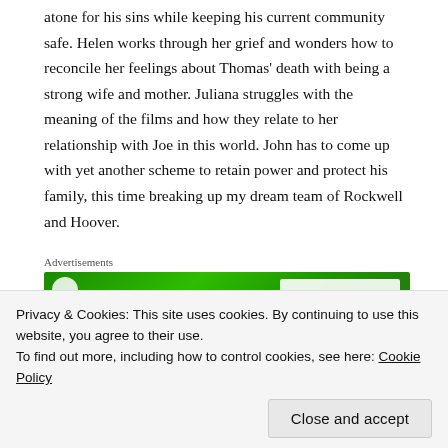atone for his sins while keeping his current community safe. Helen works through her grief and wonders how to reconcile her feelings about Thomas' death with being a strong wife and mother. Juliana struggles with the meaning of the films and how they relate to her relationship with Joe in this world. John has to come up with yet another scheme to retain power and protect his family, this time breaking up my dream team of Rockwell and Hoover.
Advertisements
[Figure (other): Green advertisement banner with white circle icon on left and white button element on right]
Privacy & Cookies: This site uses cookies. By continuing to use this website, you agree to their use.
To find out more, including how to control cookies, see here: Cookie Policy
Close and accept